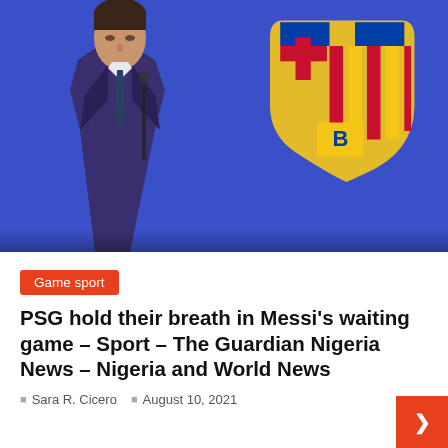[Figure (photo): A man in a dark purple suit with a dark tie stands at a podium with a microphone, head bowed looking downward. Behind him is a blue background with the FC Barcelona crest (gold and red shield) visible.]
Game sport
PSG hold their breath in Messi's waiting game – Sport – The Guardian Nigeria News – Nigeria and World News
Sara R. Cicero   August 10, 2021